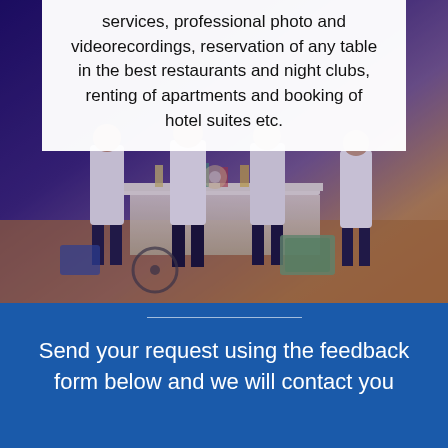[Figure (photo): Background photo of an event scene with people in white shirts standing near a table with items, lit with warm amber and purple/blue lighting]
services, professional photo and videorecordings, reservation of any table in the best restaurants and night clubs, renting of apartments and booking of hotel suites etc.
Send your request using the feedback form below and we will contact you